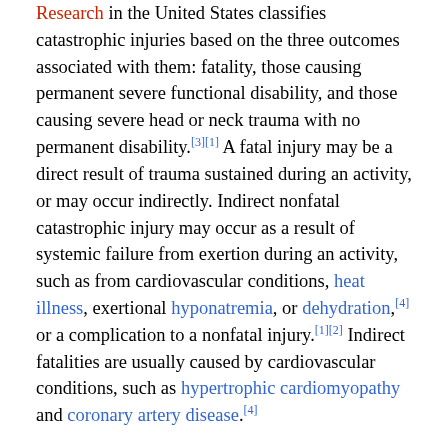Research in the United States classifies catastrophic injuries based on the three outcomes associated with them: fatality, those causing permanent severe functional disability, and those causing severe head or neck trauma with no permanent disability.[3][1] A fatal injury may be a direct result of trauma sustained during an activity, or may occur indirectly. Indirect nonfatal catastrophic injury may occur as a result of systemic failure from exertion during an activity, such as from cardiovascular conditions, heat illness, exertional hyponatremia, or dehydration,[4] or a complication to a nonfatal injury.[1][2] Indirect fatalities are usually caused by cardiovascular conditions, such as hypertrophic cardiomyopathy and coronary artery disease.[4]
Fatal injury may reveal an unknown "underlying anatomical or physiological abnormality".[5] Individuals with certain anatomical anomalies should not participate in